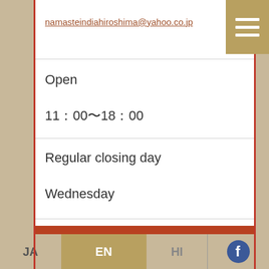namasteindiahiroshima@yahoo.co.jp
Open
11：00〜18：00
Regular closing day
Wednesday
NAMASTE INDIA (India)
JA  EN  HI